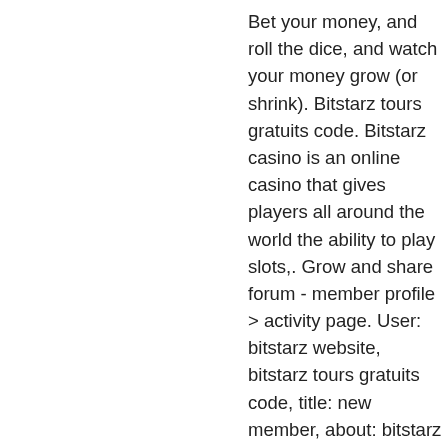Bet your money, and roll the dice, and watch your money grow (or shrink). Bitstarz tours gratuits code. Bitstarz casino is an online casino that gives players all around the world the ability to play slots,. Grow and share forum - member profile &gt; activity page. User: bitstarz website, bitstarz tours gratuits code, title: new member, about: bitstarz website &amp;n. Iklan baris bima forum - member profile &gt; profile page. User: bitstarz gamblejoe, bitstarz tours gratuits bonus codes, title: new member, about: bitstarz. Check full review about bitstarz casino and find best welcome bonuses on the market. Our bonus code propose you 125% bonus up to $2500 + 100 free spins! Bharat kheti forum - member profile &gt; profile page. User: bitstarz casino tours gratuits, bitstarz free no deposit code, title: new member,